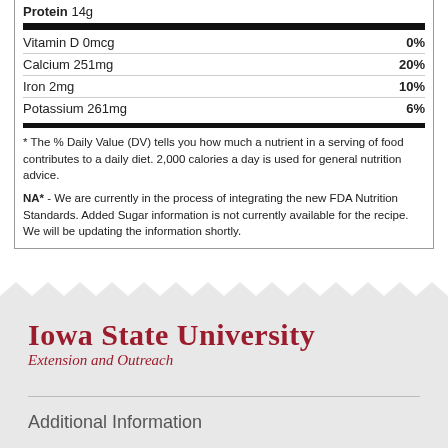| Nutrient | Amount | %DV |
| --- | --- | --- |
| Protein | 14g |  |
| Vitamin D | 0mcg | 0% |
| Calcium | 251mg | 20% |
| Iron | 2mg | 10% |
| Potassium | 261mg | 6% |
* The % Daily Value (DV) tells you how much a nutrient in a serving of food contributes to a daily diet. 2,000 calories a day is used for general nutrition advice.
NA* - We are currently in the process of integrating the new FDA Nutrition Standards. Added Sugar information is not currently available for the recipe. We will be updating the information shortly.
[Figure (logo): Iowa State University Extension and Outreach logo in dark red]
Additional Information